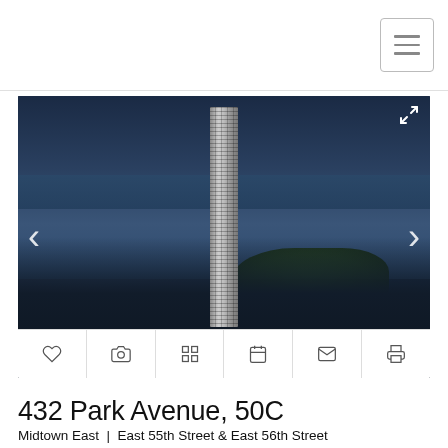[Figure (screenshot): Website header with hamburger menu button (three horizontal lines in a bordered box) in the top-right corner]
[Figure (photo): Aerial night view of 432 Park Avenue skyscraper in New York City, with Central Park and the Hudson River visible. Image carousel with left/right navigation arrows, dot indicators at the bottom, and an expand icon in the top-right. A toolbar below the image contains icons for: heart (favorite), camera, grid, calendar, envelope, and printer.]
432 Park Avenue, 50C
Midtown East  |  East 55th Street & East 56th Street